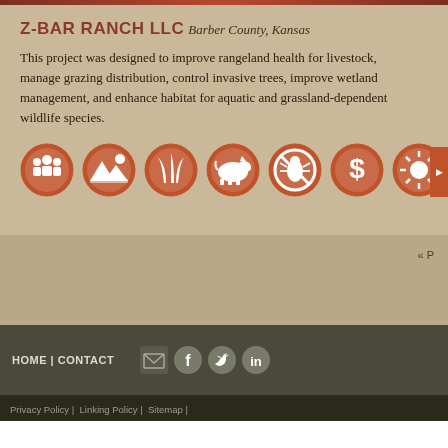Z-BAR RANCH LLC
Barber County, Kansas
This project was designed to improve rangeland health for livestock, manage grazing distribution, control invasive trees, improve wetland management, and enhance habitat for aquatic and grassland-dependent wildlife species.
[Figure (infographic): Eight circular icons representing: community/people, landscape/mountains, grass/plants, livestock/pig, pest/bug with prohibition, dollar sign/economics, sun/energy, and water drop on hand]
« P
HOME | CONTACT
Privacy Policy |  Linking Policy |  Sitemap |